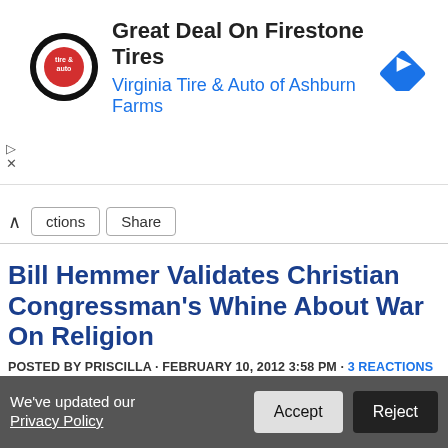[Figure (screenshot): Advertisement banner for Virginia Tire & Auto of Ashburn Farms featuring Firestone Tires, with circular logo on left, text in center, and blue diamond direction icon on right.]
Great Deal On Firestone Tires
Virginia Tire & Auto of Ashburn Farms
ctions  Share
Bill Hemmer Validates Christian Congressman's Whine About War On Religion
POSTED BY PRISCILLA · FEBRUARY 10, 2012 3:58 PM · 3 REACTIONS
It's funny. During the flap over the HHS contraceptive mandate, Jesus' BFFs whined about First Amendment freedoms and the separation of
We've updated our Privacy Policy
Accept
Reject